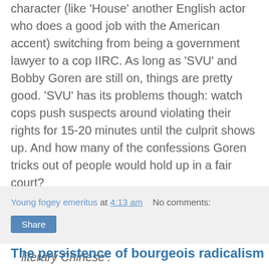character (like 'House' another English actor who does a good job with the American accent) switching from being a government lawyer to a cop IIRC. As long as 'SVU' and Bobby Goren are still on, things are pretty good. 'SVU' has its problems though: watch cops push suspects around violating their rights for 15-20 minutes until the culprit shows up. And how many of the confessions Goren tricks out of people would hold up in a fair court?
Apparently there is a 'super-rare 1949 Decree of the Holy Office allowing the translation of the Missale Romanum into literary Chinese'.
Young fogey emeritus at 4:13 am   No comments:
Share
The persistence of bourgeois radicalism